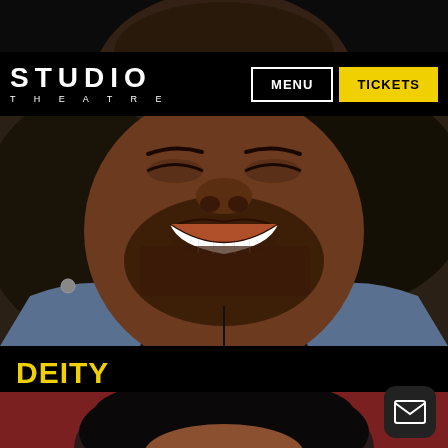[Figure (photo): Cropped top portion of a man's face (forehead and top of head) against dark background]
STUDIO THEATRE  MENU  TICKETS
[Figure (photo): Close-up portrait of a smiling Black man with beard wearing a denim jacket and black shirt]
DEITY
Desmond Bing
[Figure (photo): Top portion of a woman's head with dark hair against a reddish-brown background]